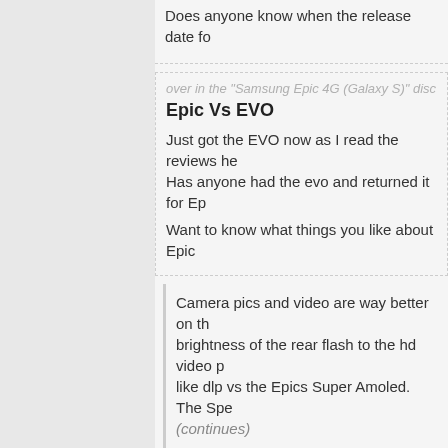Does anyone know when the release date fo...
over in the "Samsung Epic 4G (Galaxy S)" disc...
Epic Vs EVO
Just got the EVO now as I read the reviews he... Has anyone had the evo and returned it for Ep...
Want to know what things you like about Epic...
Camera pics and video are way better on th... brightness of the rear flash to the hd video p... like dlp vs the Epics Super Amoled. The Spe... (continues)
...
over in the "Samsung Epic 4G (Galaxy S)" disc...
Samsung EPIC new Android software...
Anyone have rumor info when the Epic is going... software?